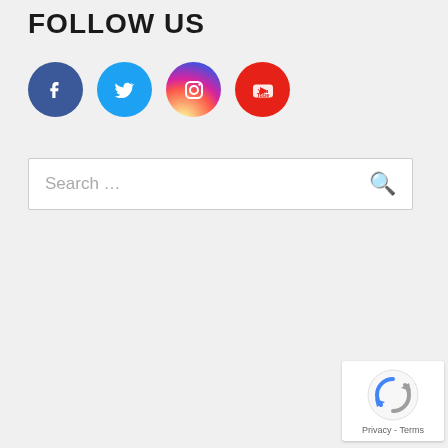FOLLOW US
[Figure (infographic): Four social media icon circles: Facebook (dark blue), Twitter (light blue), Instagram (pink/red gradient), YouTube (red)]
Search …
[Figure (other): reCAPTCHA badge with logo and Privacy - Terms text]